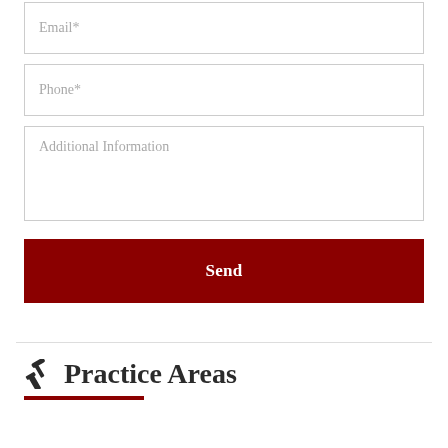Email*
Phone*
Additional Information
Send
Practice Areas